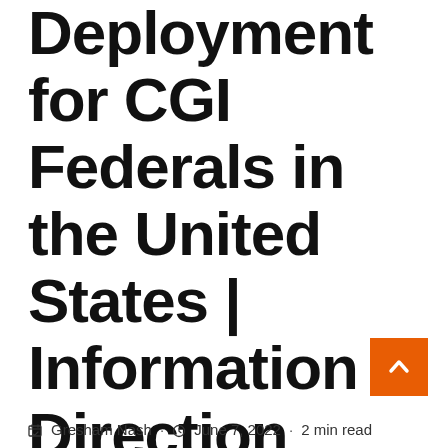Deployment for CGI Federals in the United States | Information Direction
Gresham Nash · June 7, 2022 · 2 min read